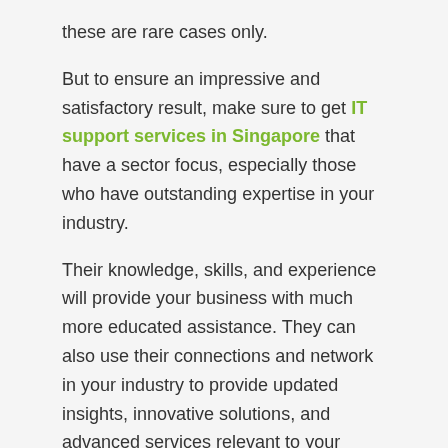these are rare cases only.
But to ensure an impressive and satisfactory result, make sure to get IT support services in Singapore that have a sector focus, especially those who have outstanding expertise in your industry.
Their knowledge, skills, and experience will provide your business with much more educated assistance. They can also use their connections and network in your industry to provide updated insights, innovative solutions, and advanced services relevant to your company.
Availability and Openness To Communication
As your company grows, the work and demand also increase. The bigger your name becomes, the more